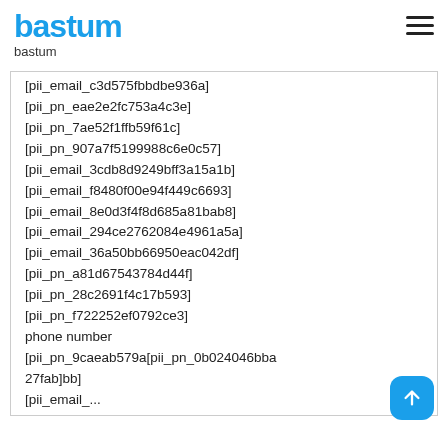bastum
bastum
[pii_email_c3d575fbbdbe936a]
[pii_pn_eae2e2fc753a4c3e]
[pii_pn_7ae52f1ffb59f61c]
[pii_pn_907a7f5199988c6e0c57]
[pii_email_3cdb8d9249bff3a15a1b]
[pii_email_f8480f00e94f449c6693]
[pii_email_8e0d3f4f8d685a81bab8]
[pii_email_294ce2762084e4961a5a]
[pii_email_36a50bb66950eac042df]
[pii_pn_a81d67543784d44f]
[pii_pn_28c2691f4c17b593]
[pii_pn_f722252ef0792ce3]
phone number
[pii_pn_9caeab579a[pii_pn_0b024046bba27fab]bb]
[pii_email_...